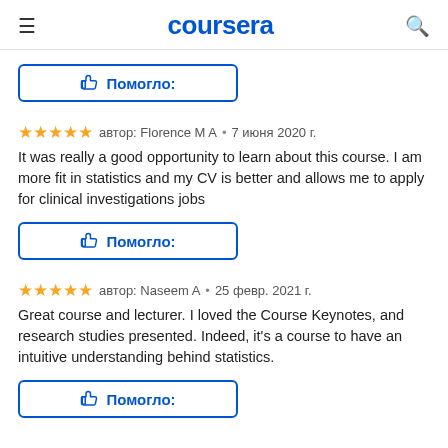coursera
👍 Помогло:
автор: Florence M A  •  7 июня 2020 г.
It was really a good opportunity to learn about this course. I am more fit in statistics and my CV is better and allows me to apply for clinical investigations jobs
👍 Помогло:
автор: Naseem A  •  25 февр. 2021 г.
Great course and lecturer. I loved the Course Keynotes, and research studies presented. Indeed, it's a course to have an intuitive understanding behind statistics.
👍 Помогло: